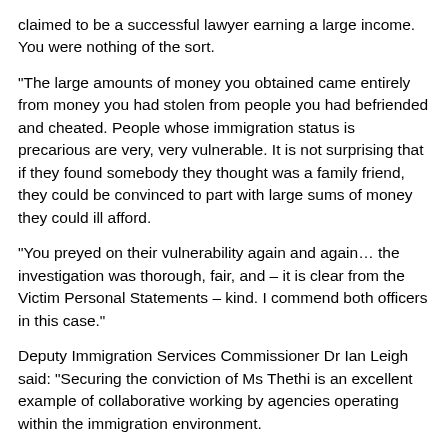claimed to be a successful lawyer earning a large income. You were nothing of the sort.
“The large amounts of money you obtained came entirely from money you had stolen from people you had befriended and cheated. People whose immigration status is precarious are very, very vulnerable. It is not surprising that if they found somebody they thought was a family friend, they could be convinced to part with large sums of money they could ill afford.
“You preyed on their vulnerability again and again… the investigation was thorough, fair, and – it is clear from the Victim Personal Statements – kind. I commend both officers in this case.”
Deputy Immigration Services Commissioner Dr Ian Leigh said: “Securing the conviction of Ms Thethi is an excellent example of collaborative working by agencies operating within the immigration environment.
“The OISC is here to ensure that people seeking immigration advice are treated fairly by qualified people they can trust. Ms Thethi was